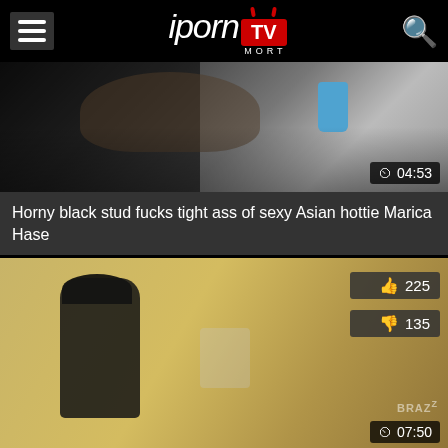iporn TV MORT
[Figure (screenshot): Video thumbnail showing two people, one holding a blue cup. Duration badge shows 04:53]
Horny black stud fucks tight ass of sexy Asian hottie Marica Hase
[Figure (screenshot): Video thumbnail showing a security guard at a door near a tan wall. Like count 225, dislike count 135. Duration badge shows 07:50. Brazzers watermark visible.]